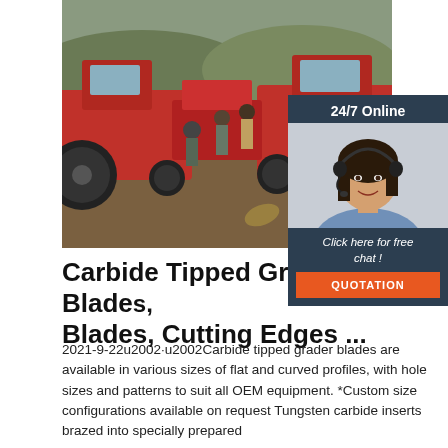[Figure (photo): Outdoor scene with two large red tractors and several people standing between them on a dirt field with hills in the background.]
[Figure (photo): Customer service representative — a woman with dark hair wearing a headset and smiling, shown in a dark-background chat widget with '24/7 Online' header, 'Click here for free chat!' text, and an orange QUOTATION button.]
Carbide Tipped Grader Blades, Cutting Edges ...
2021-9-22u2002·u2002Carbide tipped grader blades are available in various sizes of flat and curved profiles, with hole sizes and patterns to suit all OEM equipment. *Custom size configurations available on request Tungsten carbide inserts brazed into specially prepared